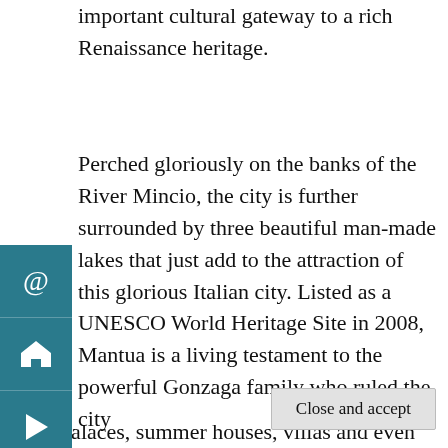important cultural gateway to a rich Renaissance heritage.
Perched gloriously on the banks of the River Mincio, the city is further surrounded by three beautiful man-made lakes that just add to the attraction of this glorious Italian city. Listed as a UNESCO World Heritage Site in 2008, Mantua is a living testament to the powerful Gonzaga family who ruled the city
[Figure (other): Left sidebar navigation icons: @ (email), home icon, play button — on teal/dark blue background]
Privacy & Cookies: This site uses cookies. By continuing to use this website, you agree to their use.
To find out more, including how to control cookies, see here:
Cookie Policy
Close and accept
sites, palaces, summer houses, villas and even